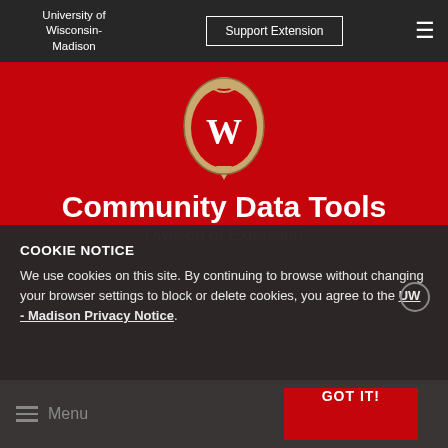University of Wisconsin-Madison
Support Extension
[Figure (logo): University of Wisconsin-Madison W crest/seal logo in gold and red on red background]
Community Data Tools
Division of Extension
COOKIE NOTICE
We use cookies on this site. By continuing to browse without changing your browser settings to block or delete cookies, you agree to the UW - Madison Privacy Notice.
GOT IT!